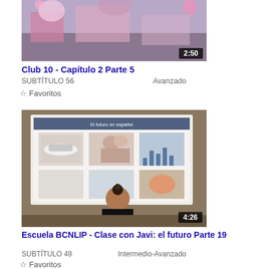[Figure (screenshot): Video thumbnail for Club 10 - Capítulo 2 Parte 5, showing a colorful stage scene, duration 2:50]
Club 10 - Capítulo 2 Parte 5
SUBTÍTULO 56    Avanzado
☆ Favoritos
[Figure (screenshot): Video thumbnail for Escuela BCNLIP - Clase con Javi: el futuro Parte 19, showing a teacher in front of a projected presentation, duration 4:26]
Escuela BCNLIP - Clase con Javi: el futuro Parte 19
SUBTÍTULO 49    Intermedio-Avanzado
☆ Favoritos
[Figure (screenshot): Partial video thumbnail at bottom of page, showing a classroom scene]